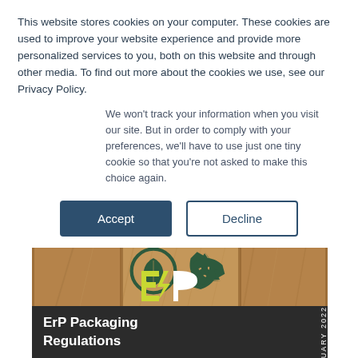This website stores cookies on your computer. These cookies are used to improve your website experience and provide more personalized services to you, both on this website and through other media. To find out more about the cookies we use, see our Privacy Policy.
We won't track your information when you visit our site. But in order to comply with your preferences, we'll have to use just one tiny cookie so that you're not asked to make this choice again.
Accept
Decline
[Figure (illustration): Document cover page for ErP Packaging Regulations, January 2022. Top section shows cardboard/kraft paper background with green eco leaf and recycle icons. Bottom dark section shows ErP logo in yellow-green and white, with title 'ErP Packaging Regulations' in white bold text and 'JANUARY 2022' in vertical text on the right.]